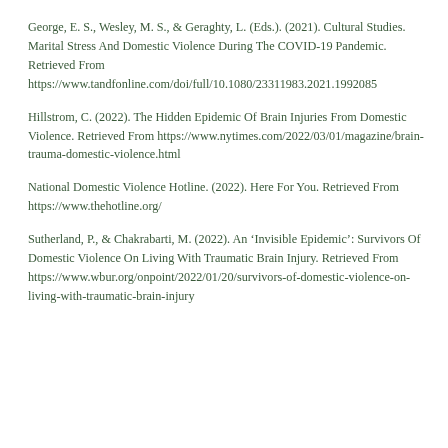George, E. S., Wesley, M. S., & Geraghty, L. (Eds.). (2021). Cultural Studies. Marital Stress And Domestic Violence During The COVID-19 Pandemic. Retrieved From https://www.tandfonline.com/doi/full/10.1080/23311983.2021.1992085
Hillstrom, C. (2022). The Hidden Epidemic Of Brain Injuries From Domestic Violence. Retrieved From https://www.nytimes.com/2022/03/01/magazine/brain-trauma-domestic-violence.html
National Domestic Violence Hotline. (2022). Here For You. Retrieved From https://www.thehotline.org/
Sutherland, P., & Chakrabarti, M. (2022). An ‘Invisible Epidemic’: Survivors Of Domestic Violence On Living With Traumatic Brain Injury. Retrieved From https://www.wbur.org/onpoint/2022/01/20/survivors-of-domestic-violence-on-living-with-traumatic-brain-injury